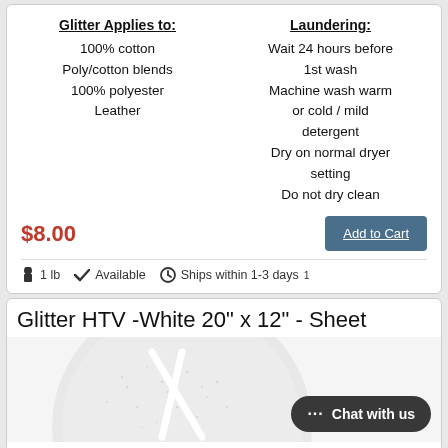Glitter Applies to:
100% cotton
Poly/cotton blends
100% polyester
Leather
Laundering:
Wait 24 hours before 1st wash
Machine wash warm or cold / mild detergent
Dry on normal dryer setting
Do not dry clean
$8.00
Add to Cart
1 lb   Available   Ships within 1-3 days¹
Glitter HTV -White 20" x 12" - Sheet
[Figure (photo): White glitter HTV sheet shown as a circular sample with scissors marks, glittery white surface]
Chat with us